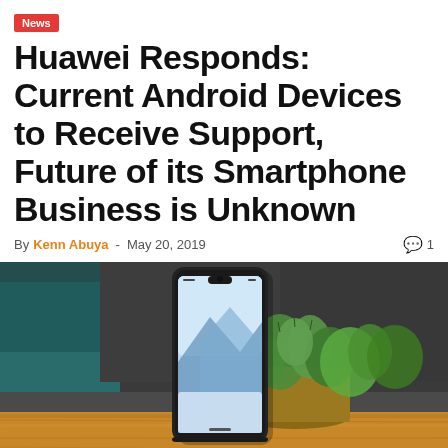News
Huawei Responds: Current Android Devices to Receive Support, Future of its Smartphone Business is Unknown
By Kenn Abuya - May 20, 2019   💬 1
[Figure (photo): A Huawei smartphone standing upright on a wooden table with a potted cactus/succulent plant behind it, blurred dark background]